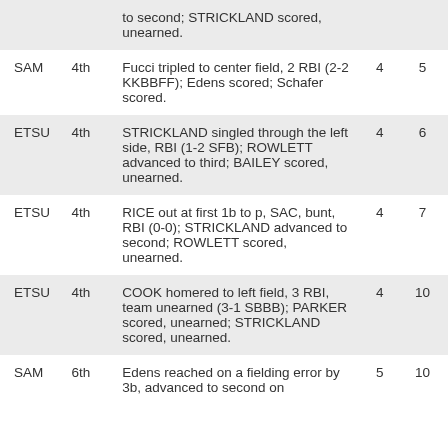| Team | Inning | Play | SAM | ETSU |
| --- | --- | --- | --- | --- |
|  |  | to second; STRICKLAND scored, unearned. |  |  |
| SAM | 4th | Fucci tripled to center field, 2 RBI (2-2 KKBBFF); Edens scored; Schafer scored. | 4 | 5 |
| ETSU | 4th | STRICKLAND singled through the left side, RBI (1-2 SFB); ROWLETT advanced to third; BAILEY scored, unearned. | 4 | 6 |
| ETSU | 4th | RICE out at first 1b to p, SAC, bunt, RBI (0-0); STRICKLAND advanced to second; ROWLETT scored, unearned. | 4 | 7 |
| ETSU | 4th | COOK homered to left field, 3 RBI, team unearned (3-1 SBBB); PARKER scored, unearned; STRICKLAND scored, unearned. | 4 | 10 |
| SAM | 6th | Edens reached on a fielding error by 3b, advanced to second on | 5 | 10 |